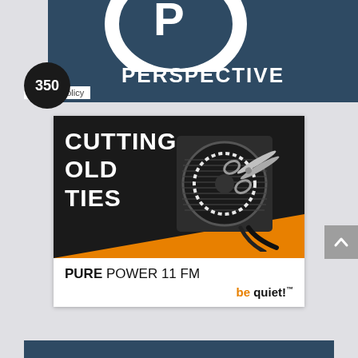[Figure (screenshot): PC Perspective logo on dark blue background with '350' badge and 'Privacy policy' link]
[Figure (advertisement): be quiet! Pure Power 11 FM advertisement showing a modular PSU with scissors cutting cables, text 'CUTTING OLD TIES', orange stripe at bottom, product name PURE POWER 11 FM and be quiet! logo]
[Figure (screenshot): Partial dark blue banner at bottom of page]